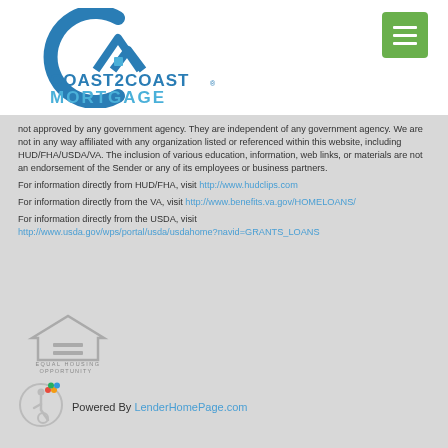[Figure (logo): Coast2Coast Mortgage logo with stylized CM house icon and company name in blue]
[Figure (other): Green hamburger menu button with three white lines]
not approved by any government agency. They are independent of any government agency. We are not in any way affiliated with any organization listed or referenced within this website, including HUD/FHA/USDA/VA. The inclusion of various education, information, web links, or materials are not an endorsement of the Sender or any of its employees or business partners.
For information directly from HUD/FHA, visit http://www.hudclips.com
For information directly from the VA, visit http://www.benefits.va.gov/HOMELOANS/
For information directly from the USDA, visit http://www.usda.gov/wps/portal/usda/usdahome?navid=GRANTS_LOANS
[Figure (logo): Equal Housing Opportunity logo - house outline with equals sign]
Powered By LenderHomePage.com
[Figure (logo): Accessibility/wheelchair icon in circle]